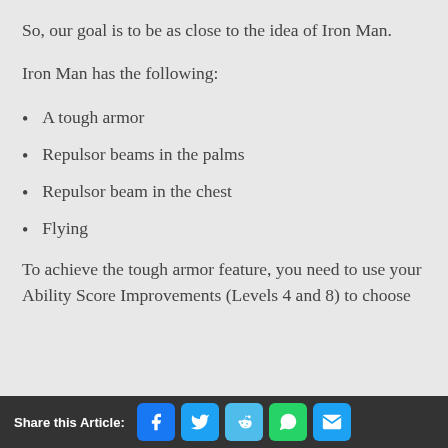So, our goal is to be as close to the idea of Iron Man.
Iron Man has the following:
A tough armor
Repulsor beams in the palms
Repulsor beam in the chest
Flying
To achieve the tough armor feature, you need to use your Ability Score Improvements (Levels 4 and 8) to choose
Share this Article: